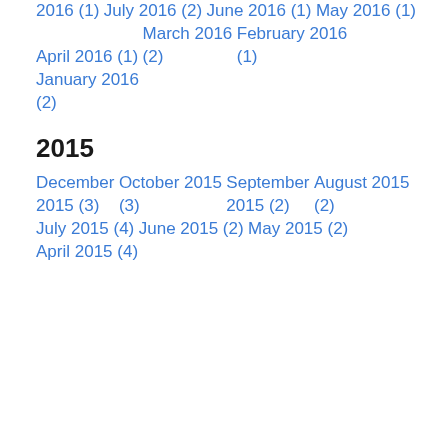2016 (1)
July 2016 (2)
June 2016 (1)
May 2016 (1)
April 2016 (1)
March 2016 (2)
February 2016 (1)
January 2016 (2)
2015
December 2015 (3)
October 2015 (3)
September 2015 (2)
August 2015 (2)
July 2015 (4)
June 2015 (2)
May 2015 (2)
April 2015 (4)